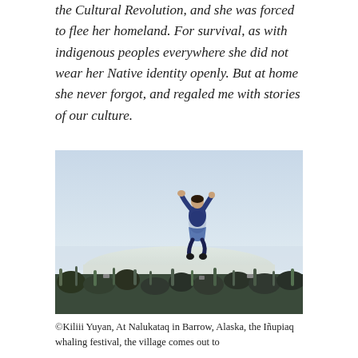the Cultural Revolution, and she was forced to flee her homeland. For survival, as with indigenous peoples everywhere she did not wear her Native identity openly. But at home she never forgot, and regaled me with stories of our culture.
[Figure (photo): Person being tossed into the air during Nalukataq, the Iñupiaq whaling festival in Barrow, Alaska. The person is mid-air with arms raised, wearing traditional clothing, above a crowd of people holding the blanket toss. A large white tent/structure is visible in the background under a pale sky.]
©Kiliii Yuyan, At Nalukataq in Barrow, Alaska, the Iñupiaq whaling festival, the village comes out to